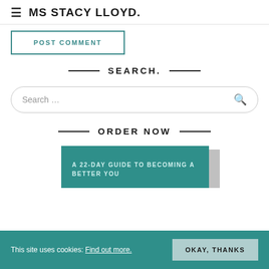≡ MS STACY LLOYD.
POST COMMENT
SEARCH.
Search ...
ORDER NOW
[Figure (illustration): Book cover for 'A 22-Day Guide to Becoming a Better You' with teal/green background]
This site uses cookies: Find out more. OKAY, THANKS